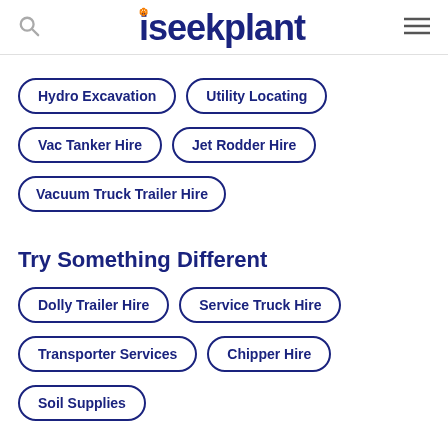iseekplant
Hydro Excavation
Utility Locating
Vac Tanker Hire
Jet Rodder Hire
Vacuum Truck Trailer Hire
Try Something Different
Dolly Trailer Hire
Service Truck Hire
Transporter Services
Chipper Hire
Soil Supplies